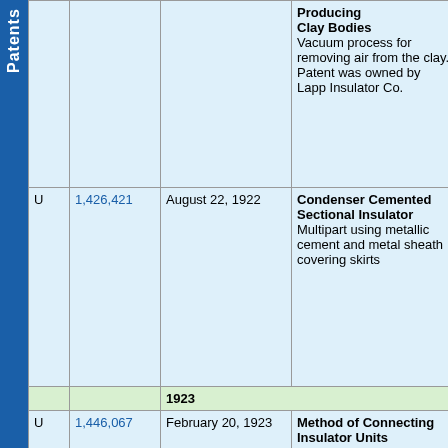| Type | Patent No. | Date | Title / Description | Assignee |
| --- | --- | --- | --- | --- |
|  |  |  | Producing Clay Bodies
Vacuum process for removing air from the clay. Patent was owned by Lapp Insulator Co. |  |
| U | 1,426,421 | August 22, 1922 | Condenser Cemented Sectional Insulator
Multipart using metallic cement and metal sheath covering skirts | SONN... |
| 1923 |  |  |  |  |
| U | 1,446,067 | February 20, 1923 | Method of Connecting Insulator Units
Suspension, method of cementing pin | REAC... |
| U | 1,456,960 | May 29, 1923 | Joint for... | AUST... |